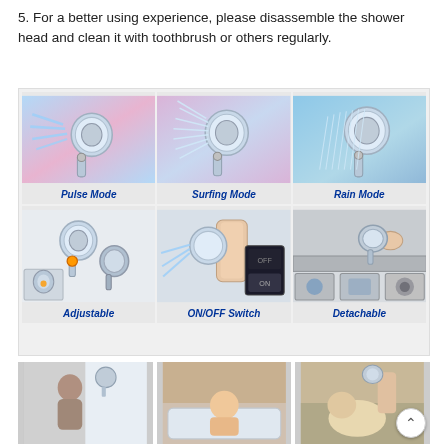5. For a better using experience, please disassemble the shower head and clean it with toothbrush or others regularly.
[Figure (infographic): 3x2 grid showing shower head modes and features: Pulse Mode (shower head spraying strong concentrated stream on blue-pink gradient background), Surfing Mode (shower head with wide spray on blue-pink gradient background), Rain Mode (shower head with wide rain-like spray on blue-teal gradient background), Adjustable (two shower heads showing adjustable connection with orange highlight and inset close-up), ON/OFF Switch (hand adjusting shower head with OFF/ON switch panel shown), Detachable (shower head being used on bath/cleaning with inset images of cleaning uses)]
[Figure (photo): Woman showering, holding shower head, black and white photo]
[Figure (photo): Young child/toddler being bathed in bathtub with shower head]
[Figure (photo): Person washing a dog with shower head]